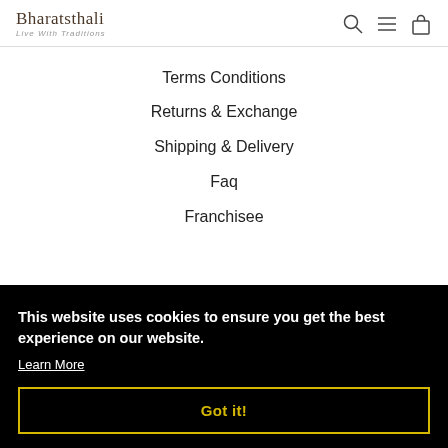Bharatsthali — Live With Traditions
Terms Conditions
Returns & Exchange
Shipping & Delivery
Faq
Franchisee
This website uses cookies to ensure you get the best experience on our website. Learn More
Got it!